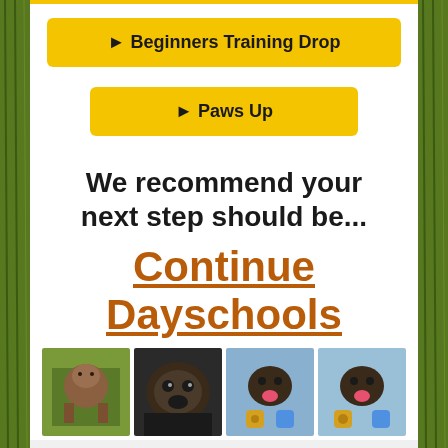► Beginners Training Drop
► Paws Up
We recommend your next step should be...
Continue Dayschools
[Figure (photo): Four photos of dogs in training scenarios]
A: Outstanding (90 – 100%) I understand my